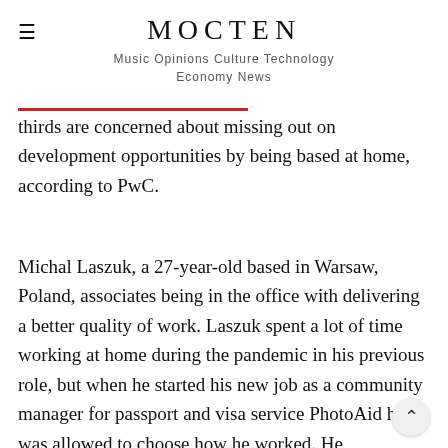MOCTEN
Music Opinions Culture Technology Economy News
thirds are concerned about missing out on development opportunities by being based at home, according to PwC.
Michal Laszuk, a 27-year-old based in Warsaw, Poland, associates being in the office with delivering a better quality of work. Laszuk spent a lot of time working at home during the pandemic in his previous role, but when he started his new job as a community manager for passport and visa service PhotoAid he was allowed to choose how he worked. He immediately chose the office.